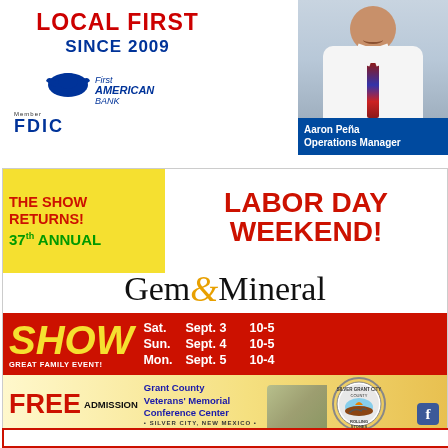[Figure (illustration): First American Bank advertisement with 'LOCAL FIRST SINCE 2009' text, First American Bank logo, FDIC member notice, and photo of Aaron Peña, Operations Manager]
[Figure (illustration): 37th Annual Gem & Mineral Show advertisement for Labor Day Weekend at Grant County Veterans' Memorial Conference Center, Silver City, New Mexico. FREE Admission. Sat. Sept. 3 10-5, Sun. Sept. 4 10-5, Mon. Sept. 5 10-4. Paid in part by Silver City Lodger's Tax. grantcountyrollingstones@gmail.com. Please leave your pets at home.]
[Figure (illustration): Partial view of a red-bordered advertisement at the bottom of the page]